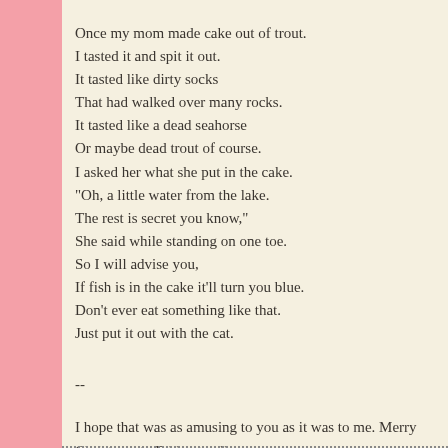Once my mom made cake out of trout.
I tasted it and spit it out.
It tasted like dirty socks
That had walked over many rocks.
It tasted like a dead seahorse
Or maybe dead trout of course.
I asked her what she put in the cake.
"Oh, a little water from the lake.
The rest is secret you know,"
She said while standing on one toe.
So I will advise you,
If fish is in the cake it'll turn you blue.
Don't ever eat something like that.
Just put it out with the cat.
--
I hope that was as amusing to you as it was to me. Merry Christmas to Friday to all.